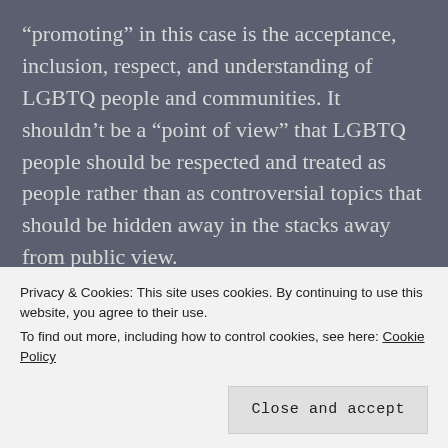“promoting” in this case is the acceptance, inclusion, respect, and understanding of LGBTQ people and communities. It shouldn’t be a “point of view” that LGBTQ people should be respected and treated as people rather than as controversial topics that should be hidden away in the stacks away from public view.
The mission statement for Washington County Libraries explicitly states that censorship is not tolerated and that you provide open, non-
Privacy & Cookies: This site uses cookies. By continuing to use this website, you agree to their use.
To find out more, including how to control cookies, see here: Cookie Policy
Close and accept
materials.